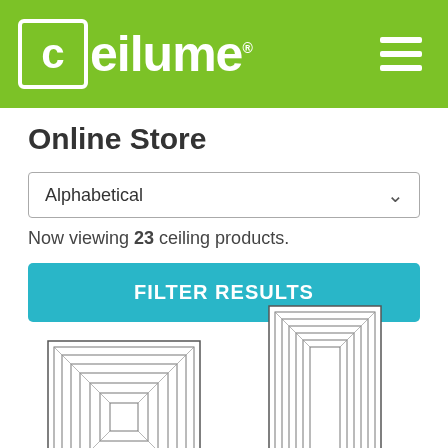ceilume® Online Store
Alphabetical
Now viewing 23 ceiling products.
FILTER RESULTS
[Figure (illustration): Line drawing of Aristocrat ceiling tile with square concentric stepped border pattern]
Aristocrat Ceiling Tile
[Figure (illustration): Line drawing of a ceiling plank tile with rectangular concentric stepped border pattern, taller than wide]